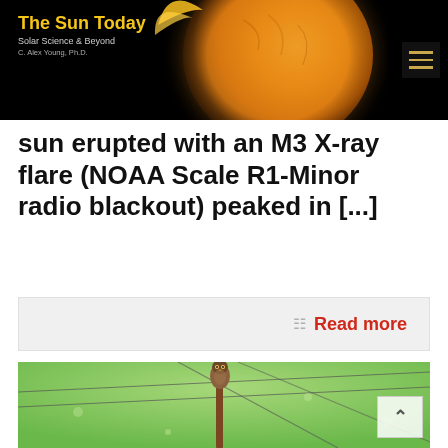The Sun Today — Solar Science & Beyond — C. Alex Young, Ph.D.
sun erupted with an M3 X-ray flare (NOAA Scale R1-Minor radio blackout) peaked in [...]
Read more
[Figure (photo): An owl perched on top of a wooden utility pole with power lines crossing in front, against a green sky background]